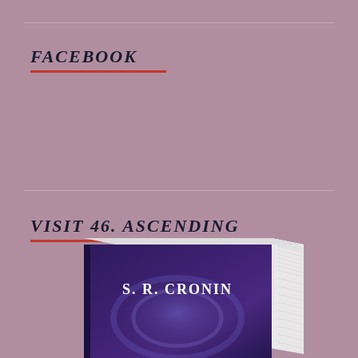FACEBOOK
VISIT 46. ASCENDING
[Figure (photo): Book cover showing 'S. R. CRONIN' text on a dark purple atmospheric book cover, displayed as a 3D book with pages visible on the right side]